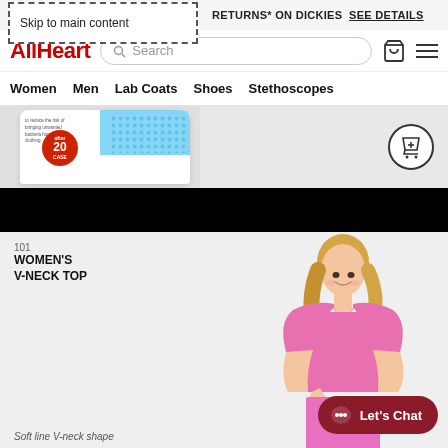Skip to main content
RETURNS* ON DICKIES SEE DETAILS
[Figure (screenshot): AllHeart logo in red bold text]
Search
Women  Men  Lab Coats  Shoes  Stethoscopes
[Figure (photo): Product packaging with blue top, red circular badge with '20 CASE' text]
[Figure (photo): Women's V-Neck Top product photo - woman wearing pink scrub top]
101
WOMEN'S
V-NECK TOP
Soft line V-neck shape